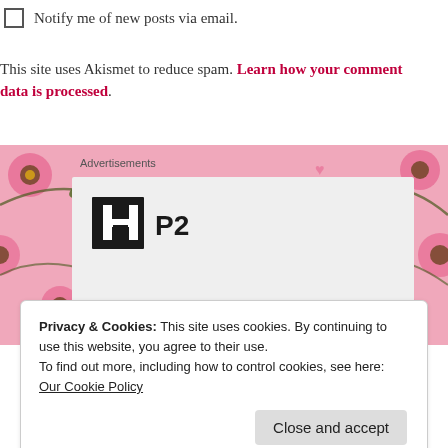Notify me of new posts via email.
This site uses Akismet to reduce spam. Learn how your comment data is processed.
[Figure (screenshot): Floral pink background with advertisement card showing P2 logo (black square with white H-like icon and 'P2' text)]
Privacy & Cookies: This site uses cookies. By continuing to use this website, you agree to their use.
To find out more, including how to control cookies, see here:
Our Cookie Policy
Close and accept